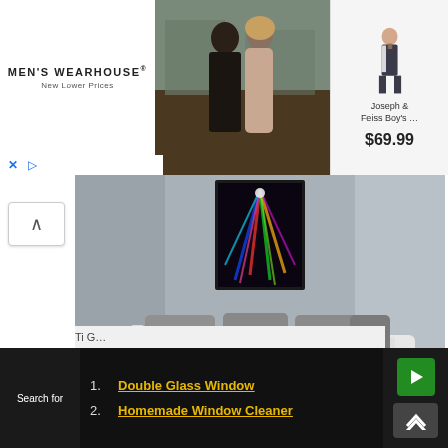[Figure (photo): Men's Wearhouse advertisement banner with logo on left, photo of couple in formal wear in center, and boy's suit product with price on right]
MEN'S WEARHOUSE®
New Lower Prices
Joseph & Feiss Boy's …
$69.99
[Figure (photo): Modern living room interior with white sectional sofa, gray throw pillows, dark shag rug, coffee table with decorative vases, and colorful framed artwork on gray wall]
Search for
1. Double Glass Window
2. Homemade Window Cleaner